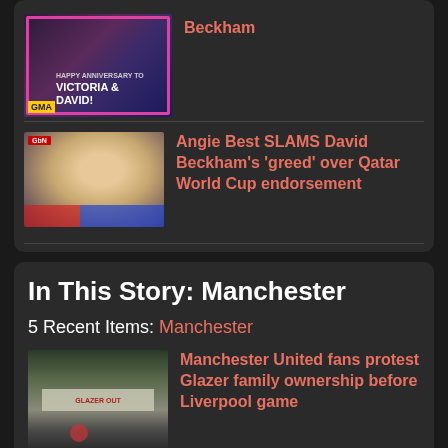[Figure (photo): GMA thumbnail showing Victoria & David Beckham anniversary graphic with pink border]
Beckham
[Figure (photo): Angie Best on news broadcast with red and blue background]
Angie Best SLAMS David Beckham's 'greed' over Qatar World Cup endorsement
In This Story: Manchester
5 Recent Items: Manchester
[Figure (photo): Manchester United protest scene with banner in foggy conditions]
Manchester United fans protest Glazer family ownership before Liverpool game